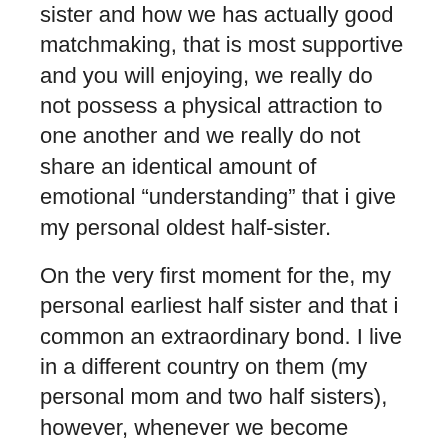sister and how we has actually good matchmaking, that is most supportive and you will enjoying, we really do not possess a physical attraction to one another and we really do not share an identical amount of emotional “understanding” that i give my personal oldest half-sister.
On the very first moment for the, my personal earliest half sister and that i common an extraordinary bond. I live in a different country on them (my personal mom and two half sisters), however, whenever we become observe one another, i’ve an ability to get into for each and every other’s souls when you look at the a keen instant, as if i have not ever been aside. The “connection” anywhere between united states features always contained some real appeal, however, i never acted inside it, nor talked about it. Into the for each other’s visibility, we had been however constantly